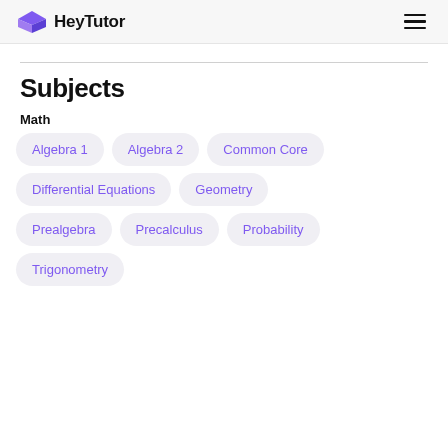HeyTutor
Subjects
Math
Algebra 1
Algebra 2
Common Core
Differential Equations
Geometry
Prealgebra
Precalculus
Probability
Trigonometry